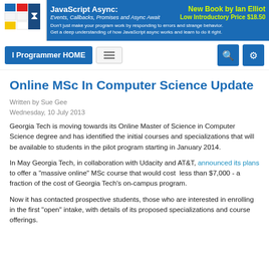[Figure (logo): I Programmer logo: colorful grid of squares with hourglass icon, blue banner with JavaScript Async book advertisement]
JavaScript Async: Events, Callbacks, Promises and Async Await | New Book by Ian Elliot | Low Introductory Price $18.50 | Don't just make your program work by responding to errors and strange behavior. Get a deep understanding of how JavaScript async works and learn to do it right.
I Programmer HOME
Online MSc In Computer Science Update
Written by Sue Gee
Wednesday, 10 July 2013
Georgia Tech is moving towards its Online Master of Science in Computer Science degree and has identified the initial courses and specializations that will be available to students in the pilot program starting in January 2014.
In May Georgia Tech, in collaboration with Udacity and AT&T, announced its plans to offer a "massive online" MSc course that would cost  less than $7,000 - a fraction of the cost of Georgia Tech's on-campus program.
Now it has contacted prospective students, those who are interested in enrolling in the first "open" intake, with details of its proposed specializations and course offerings.